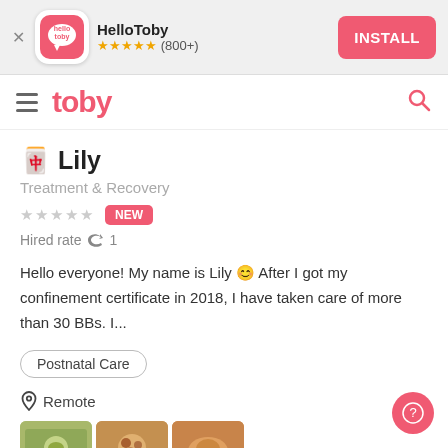[Figure (screenshot): HelloToby app install banner with logo icon, star rating (800+), and INSTALL button]
[Figure (screenshot): Toby website navigation bar with hamburger menu, toby logo, and search icon]
🀄 Lily
Treatment & Recovery
★★★★★ NEW
Hired rate 🔁 1
Hello everyone! My name is Lily 😊 After I got my confinement certificate in 2018, I have taken care of more than 30 BBs. I...
Postnatal Care
📍 Remote
[Figure (photo): Three food/meal photos at the bottom of the profile]